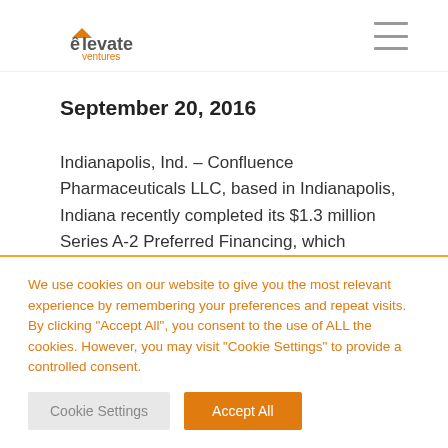elevate ventures [navigation]
September 20, 2016
Indianapolis, Ind. – Confluence Pharmaceuticals LLC, based in Indianapolis, Indiana recently completed its $1.3 million Series A-2 Preferred Financing, which included an investment by Indianapolis-based
We use cookies on our website to give you the most relevant experience by remembering your preferences and repeat visits. By clicking "Accept All", you consent to the use of ALL the cookies. However, you may visit "Cookie Settings" to provide a controlled consent.